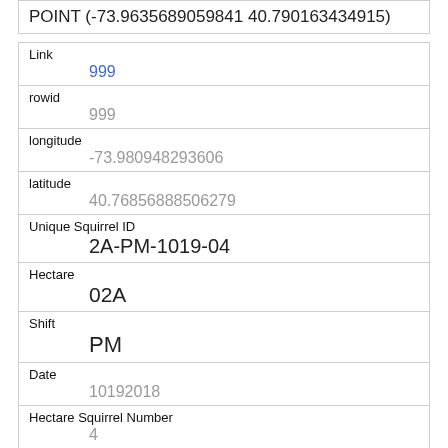POINT (-73.9635689059841 40.790163434915)
| Field | Value |
| --- | --- |
| Link | 999 |
| rowid | 999 |
| longitude | -73.980948293606 |
| latitude | 40.76856888506279 |
| Unique Squirrel ID | 2A-PM-1019-04 |
| Hectare | 02A |
| Shift | PM |
| Date | 10192018 |
| Hectare Squirrel Number | 4 |
| Age |  |